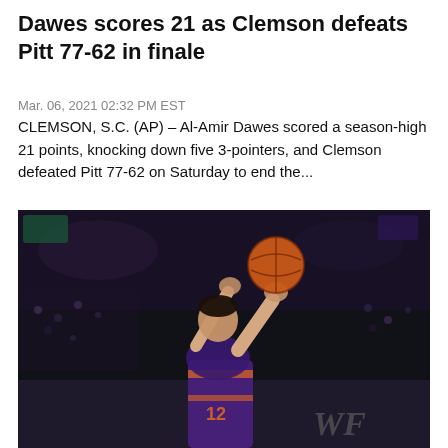Dawes scores 21 as Clemson defeats Pitt 77-62 in finale
Mar. 06, 2021 02:32 PM EST
CLEMSON, S.C. (AP) – Al-Amir Dawes scored a season-high 21 points, knocking down five 3-pointers, and Clemson defeated Pitt 77-62 on Saturday to end the...
[Figure (photo): A Clemson basketball player wearing purple and orange uniform number 12 shooting a basketball in an arena, with the WF (Wake Forest) logo visible in the background and spectators in the stands.]